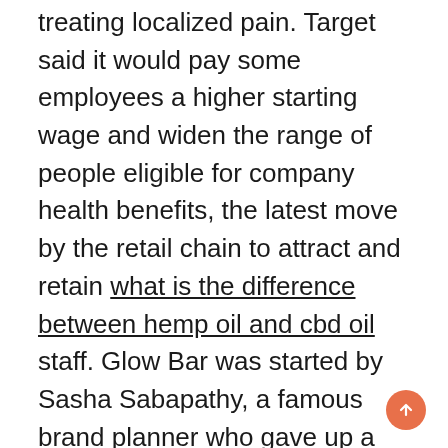treating localized pain. Target said it would pay some employees a higher starting wage and widen the range of people eligible for company health benefits, the latest move by the retail chain to attract and retain what is the difference between hemp oil and cbd oil staff. Glow Bar was started by Sasha Sabapathy, a famous brand planner who gave up a successful career to become a chef and businesswoman. You can purchase many wellness products, including CBD oil, but you have to try the CBD croissants and truffles.
As for customer service, we emailed the company to see their third-party lab test